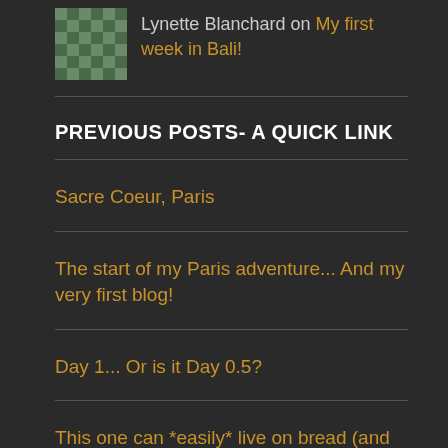Lynette Blanchard on My first week in Bali!
PREVIOUS POSTS- A QUICK LINK
Sacre Coeur, Paris
The start of my Paris adventure... And my very first blog!
Day 1... Or is it Day 0.5?
This one can *easily* live on bread (and cheese)